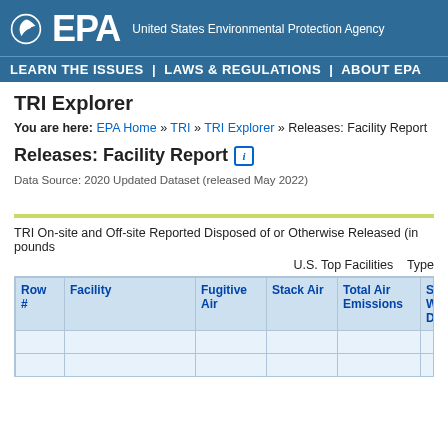[Figure (logo): EPA logo with leaf icon and text 'EPA United States Environmental Protection Agency' on blue background]
LEARN THE ISSUES  |  LAWS & REGULATIONS  |  ABOUT EPA
TRI Explorer
You are here: EPA Home » TRI » TRI Explorer » Releases: Facility Report
Releases: Facility Report
Data Source: 2020 Updated Dataset (released May 2022)
TRI On-site and Off-site Reported Disposed of or Otherwise Released (in pounds
U.S. Top Facilities   Type
| Row # | Facility | Fugitive Air | Stack Air | Total Air Emissions | Surface Water Discharges | Under Injecti Class |
| --- | --- | --- | --- | --- | --- | --- |
|  |  |  |  |  |  |  |